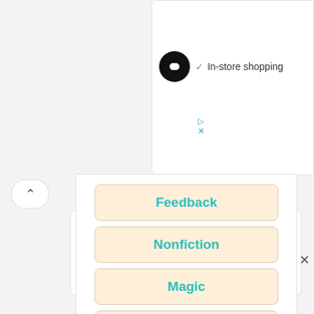[Figure (screenshot): Top right partial white panel showing a black infinity-logo circle and 'In-store shopping' text with a green checkmark]
Feedback
Nonfiction
Magic
Psychological Science
[Figure (screenshot): Bottom panel showing restaurant logo, Dine-in, Curbside pickup info, and blue navigation diamond button]